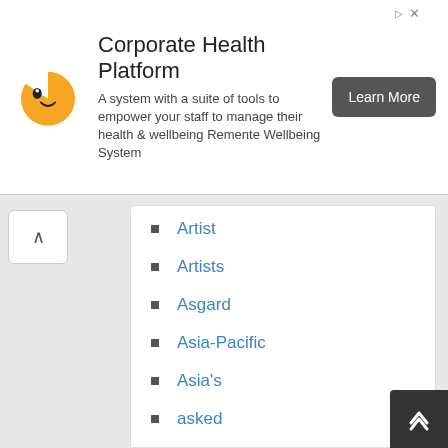[Figure (other): Advertisement banner for Corporate Health Platform (Remente Wellbeing System) with orange bear-like mascot logo, title text, description, and a 'Learn More' button]
Artist
Artists
Asgard
Asia-Pacific
Asia's
asked
Assessing
Asset
Assets
Aston
Astronomers